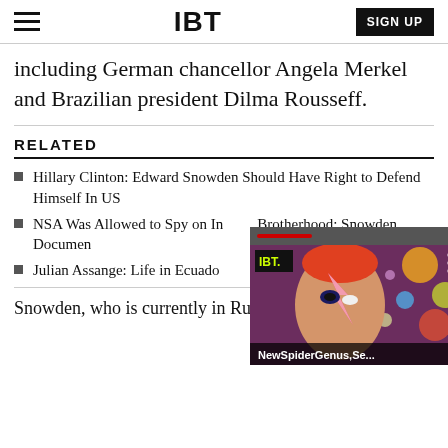IBT | SIGN UP
including German chancellor Angela Merkel and Brazilian president Dilma Rousseff.
RELATED
Hillary Clinton: Edward Snowden Should Have Right to Defend Himself In US
NSA Was Allowed to Spy on Muslim Brotherhood: Snowden Documents
Julian Assange: Life in Ecuador
[Figure (screenshot): IBT video player overlay showing a colorful portrait image (Ziggy Stardust/David Bowie style face paint), with IBT logo, three-dot menu, a red progress bar, and title 'NewSpiderGenus,Se...' overlaid at the bottom. A close (X) button is visible at the top right.]
Snowden, who is currently in Russia, is wanted by